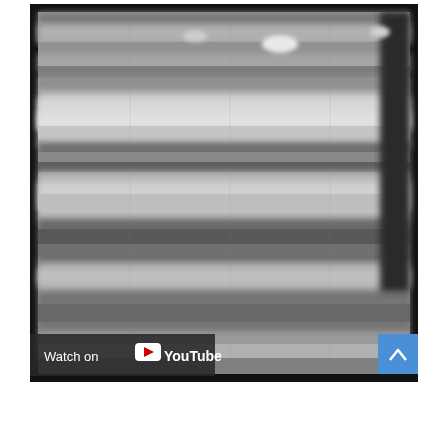[Figure (screenshot): A blurry grayscale image appearing to show an outdoor aerial or distant scene, possibly a military or surveillance footage screenshot, with a 'Watch on YouTube' overlay bar at the bottom left and a blue scroll-to-top button at the bottom right.]